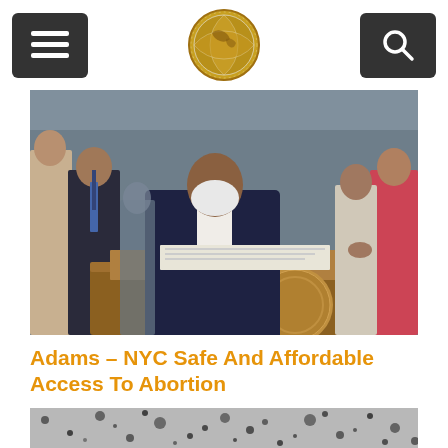Navigation header with menu button, logo, and search button
[Figure (photo): Mayor Eric Adams wearing a mask, seated at a wooden desk signing documents, surrounded by officials and attendees in a formal government setting]
Adams – NYC Safe And Affordable Access To Abortion
[Figure (photo): Grayscale microscope or scientific image showing dark particles on a light background, partially visible at bottom of page]